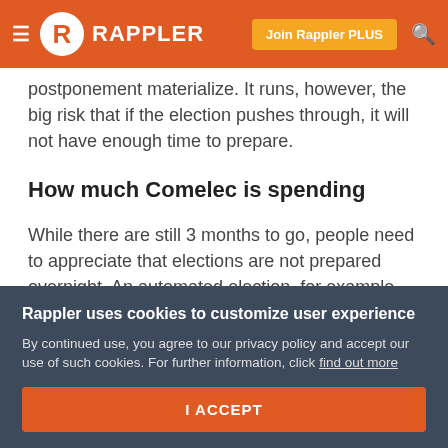Rappler — Join Rappler PLUS
postponement materialize. It runs, however, the big risk that if the election pushes through, it will not have enough time to prepare.
How much Comelec is spending
While there are still 3 months to go, people need to appreciate that elections are not prepared overnight. An automated election, for example, takes 3 years of preparatory work, starting as soon as the last one ends. Manual elections, like the upcoming barangay and SK
Rappler uses cookies to customize user experience
By continued use, you agree to our privacy policy and accept our use of such cookies. For further information, click find out more
I ACCEPT